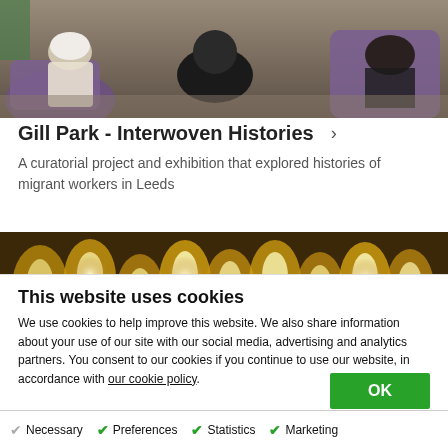[Figure (photo): Photo of women in headscarves seated in chairs in a room, viewed from behind, in a community or social setting.]
Gill Park - Interwoven Histories >
A curatorial project and exhibition that explored histories of migrant workers in Leeds
[Figure (photo): Close-up photo of warm glowing golden candle or chandelier lights with a bokeh effect.]
This website uses cookies
We use cookies to help improve this website. We also share information about your use of our site with our social media, advertising and analytics partners. You consent to our cookies if you continue to use our website, in accordance with our cookie policy.
OK
Necessary   Preferences   Statistics   Marketing